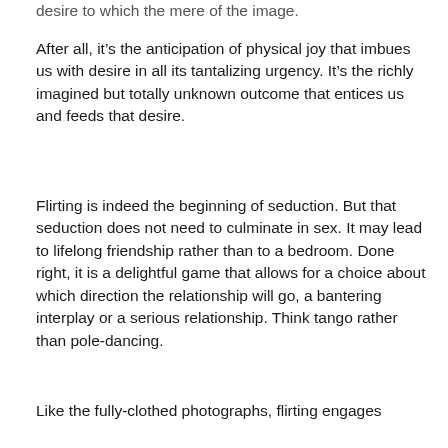desire to which the mere of the image.
After all, it’s the anticipation of physical joy that imbues us with desire in all its tantalizing urgency. It’s the richly imagined but totally unknown outcome that entices us and feeds that desire.
Flirting is indeed the beginning of seduction. But that seduction does not need to culminate in sex. It may lead to lifelong friendship rather than to a bedroom. Done right, it is a delightful game that allows for a choice about which direction the relationship will go, a bantering interplay or a serious relationship. Think tango rather than pole-dancing.
Like the fully-clothed photographs, flirting engages